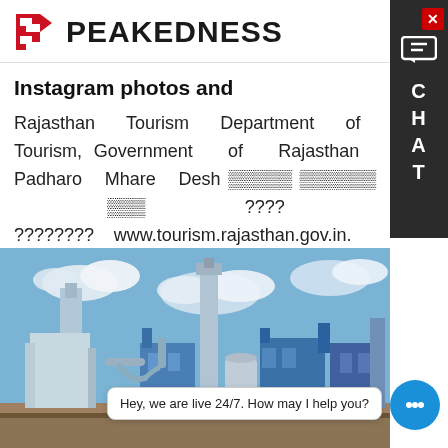[Figure (logo): Peakedness logo with red stylized P arrow icon and bold black text PEAKEDNESS]
Instagram photos and
Rajasthan Tourism Department of Tourism, Government of Rajasthan Padharo Mhare Desh ▆▆▆▆▆ ▆▆▆▆▆▆ ▆▆▆ ???? ???????? www.tourism.rajasthan.gov.in. Independence Day.
Learn More
[Figure (photo): Industrial factory / cement plant with blue buildings, silos, pipes and equipment under a partly cloudy sky]
Hey, we are live 24/7. How may I help you?